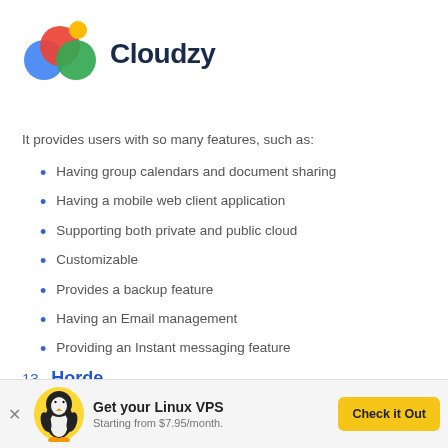[Figure (logo): Cloudzy logo with colorful overlapping circles (blue, red, green) and a yellow dot, next to the text 'Cloudzy' in dark navy bold font.]
It provides users with so many features, such as:
Having group calendars and document sharing
Having a mobile web client application
Supporting both private and public cloud
Customizable
Provides a backup feature
Having an Email management
Providing an Instant messaging feature
13. Horde
[Figure (illustration): Linux penguin (Tux) mascot illustration in a yellow circle background, part of an advertisement banner for Linux VPS hosting.]